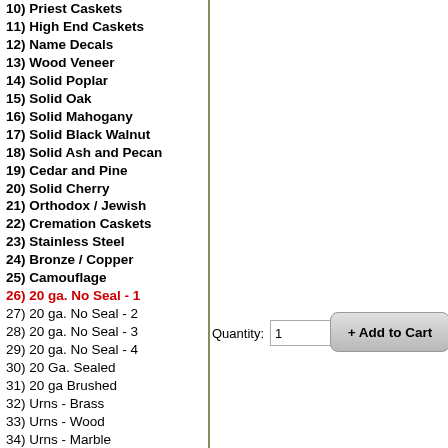10) Priest Caskets
11) High End Caskets
12) Name Decals
13) Wood Veneer
14) Solid Poplar
15) Solid Oak
16) Solid Mahogany
17) Solid Black Walnut
18) Solid Ash and Pecan
19) Cedar and Pine
20) Solid Cherry
21) Orthodox / Jewish
22) Cremation Caskets
23) Stainless Steel
24) Bronze / Copper
25) Camouflage
26) 20 ga. No Seal - 1
27) 20 ga. No Seal - 2
28) 20 ga. No Seal - 3
29) 20 ga. No Seal - 4
30) 20 Ga. Sealed
31) 20 ga Brushed
32) Urns - Brass
33) Urns - Wood
34) Urns - Marble